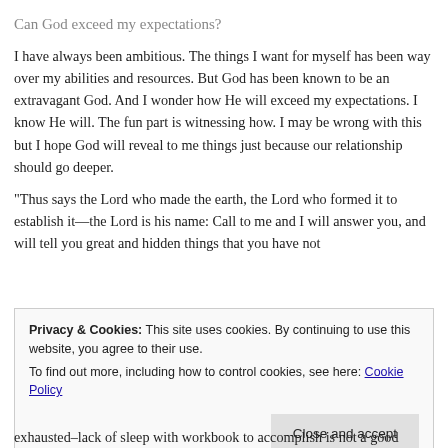Can God exceed my expectations?
I have always been ambitious.  The things I want for myself has been way over my abilities and resources.  But God has been known to be an extravagant God.  And I wonder how He will exceed my expectations.  I know He will.  The fun part is witnessing how.  I may be wrong with this but I hope God will reveal to me things just because our relationship should go deeper.
“Thus says the Lord who made the earth, the Lord who formed it to establish it—the Lord is his name: Call to me and I will answer you, and will tell you great and hidden things that you have not
Privacy & Cookies: This site uses cookies. By continuing to use this website, you agree to their use.
To find out more, including how to control cookies, see here: Cookie Policy
Close and accept
exhausted–lack of sleep with workbook to accomplish is not a good